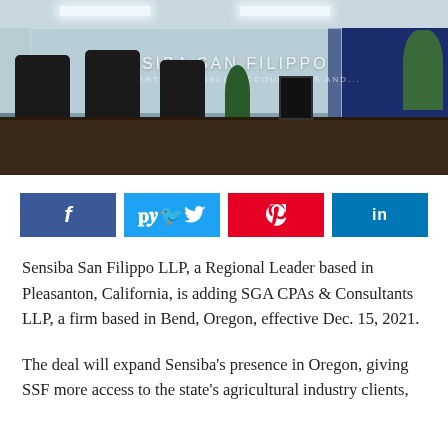[Figure (photo): Interior of Sensiba San Filippo LLP office showing reception area with glass panels bearing the firm name, dark wood desk, black office chairs, and a dark navy blue accent wall.]
[Figure (infographic): Row of four social media share buttons: Facebook (dark blue), Twitter (light blue), Pinterest (red), LinkedIn (blue) with respective icons f, bird, pin, in.]
Sensiba San Filippo LLP, a Regional Leader based in Pleasanton, California, is adding SGA CPAs & Consultants LLP, a firm based in Bend, Oregon, effective Dec. 15, 2021.
The deal will expand Sensiba's presence in Oregon, giving SSF more access to the state's agricultural industry clients,